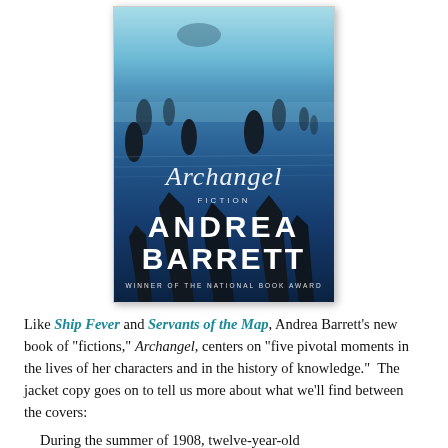[Figure (photo): Book cover of 'Archangel' by Andrea Barrett. Shows a dramatic seascape with dark jagged rocks emerging from misty blue ocean water. Title 'Archangel' in cursive script, subtitle 'Fiction', author name 'ANDREA BARRETT' in large white sans-serif letters, and 'WINNER OF THE NATIONAL BOOK AWARD' at the bottom.]
Like Ship Fever and Servants of the Map, Andrea Barrett's new book of "fictions," Archangel, centers on "five pivotal moments in the lives of her characters and in the history of knowledge."  The jacket copy goes on to tell us more about what we'll find between the covers:
During the summer of 1908, twelve-year-old